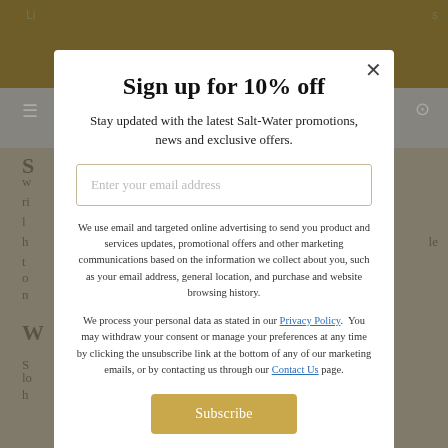Sign up for 10% off
Stay updated with the latest Salt-Water promotions, news and exclusive offers.
Enter your email address
We use email and targeted online advertising to send you product and services updates, promotional offers and other marketing communications based on the information we collect about you, such as your email address, general location, and purchase and website browsing history.
We process your personal data as stated in our Privacy Policy. You may withdraw your consent or manage your preferences at any time by clicking the unsubscribe link at the bottom of any of our marketing emails, or by contacting us through our Contact Us page.
Subscribe